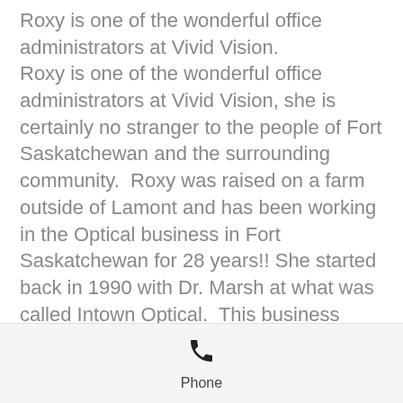Roxy is one of the wonderful office administrators at Vivid Vision. Roxy is one of the wonderful office administrators at Vivid Vision, she is certainly no stranger to the people of Fort Saskatchewan and the surrounding community. Roxy was raised on a farm outside of Lamont and has been working in the Optical business in Fort Saskatchewan for 28 years!! She started back in 1990 with Dr. Marsh at what was called Intown Optical. This business then became ICU Optical and eventually Vivid Vision when
Phone